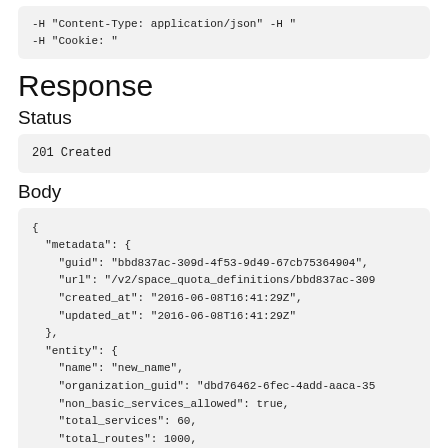-H "Content-Type: application/json" -H "Cookie: "
Response
Status
201 Created
Body
{
  "metadata": {
    "guid": "bbd837ac-309d-4f53-9d49-67cb75364904",
    "url": "/v2/space_quota_definitions/bbd837ac-309
    "created_at": "2016-06-08T16:41:29Z",
    "updated_at": "2016-06-08T16:41:29Z"
  },
  "entity": {
    "name": "new_name",
    "organization_guid": "dbd76462-6fec-4add-aaca-35
    "non_basic_services_allowed": true,
    "total_services": 60,
    "total_routes": 1000,